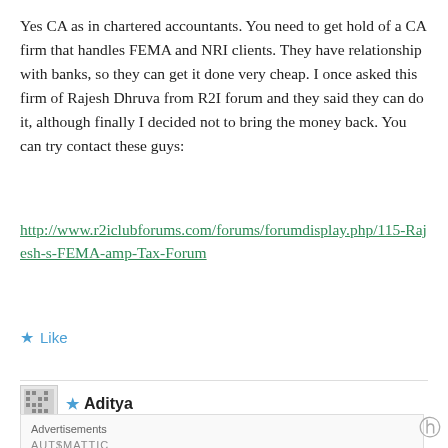Yes CA as in chartered accountants. You need to get hold of a CA firm that handles FEMA and NRI clients. They have relationship with banks, so they can get it done very cheap. I once asked this firm of Rajesh Dhruva from R2I forum and they said they can do it, although finally I decided not to bring the money back. You can try contact these guys:
http://www.r2iclubforums.com/forums/forumdisplay.php/115-Rajesh-s-FEMA-amp-Tax-Forum
★ Like
★ Aditya
MARCH 22, 2022 AT 2:11 AM
Advertisements
AUTOMATTIC
Build a better web and a better world.